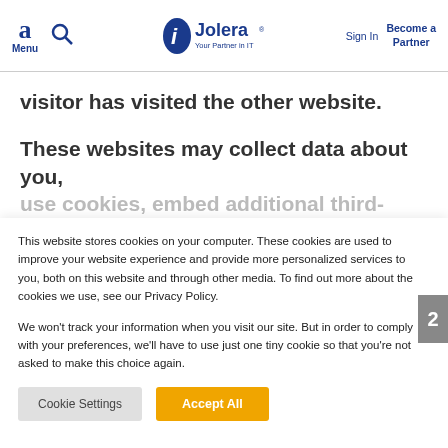Menu | Search | Jolera Your Partner in IT | Sign In | Become a Partner
visitor has visited the other website.
These websites may collect data about you, use cookies, embed additional third-party
This website stores cookies on your computer. These cookies are used to improve your website experience and provide more personalized services to you, both on this website and through other media. To find out more about the cookies we use, see our Privacy Policy.
We won't track your information when you visit our site. But in order to comply with your preferences, we'll have to use just one tiny cookie so that you're not asked to make this choice again.
Cookie Settings | Accept All